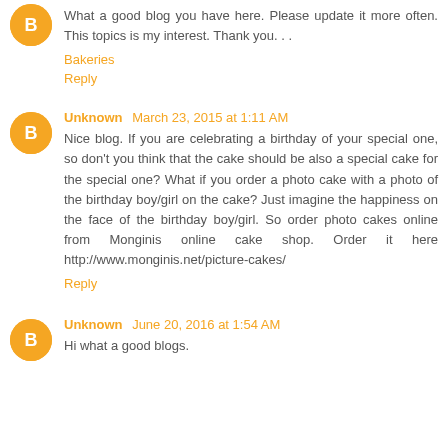What a good blog you have here. Please update it more often. This topics is my interest. Thank you. . .
Bakeries
Reply
Unknown March 23, 2015 at 1:11 AM
Nice blog. If you are celebrating a birthday of your special one, so don't you think that the cake should be also a special cake for the special one? What if you order a photo cake with a photo of the birthday boy/girl on the cake? Just imagine the happiness on the face of the birthday boy/girl. So order photo cakes online from Monginis online cake shop. Order it here http://www.monginis.net/picture-cakes/
Reply
Unknown June 20, 2016 at 1:54 AM
Hi what a good blogs.